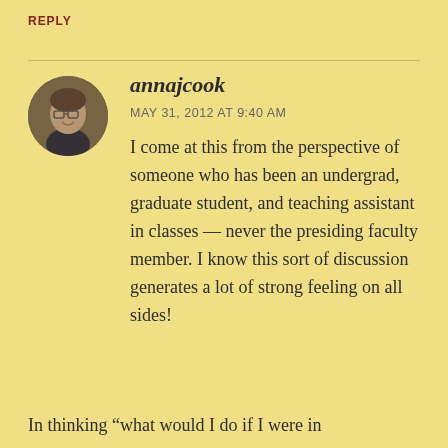REPLY
[Figure (photo): Round avatar photo of annajcook, a person with glasses smiling]
annajcook
MAY 31, 2012 AT 9:40 AM
I come at this from the perspective of someone who has been an undergrad, graduate student, and teaching assistant in classes — never the presiding faculty member. I know this sort of discussion generates a lot of strong feeling on all sides!
In thinking “what would I do if I were in